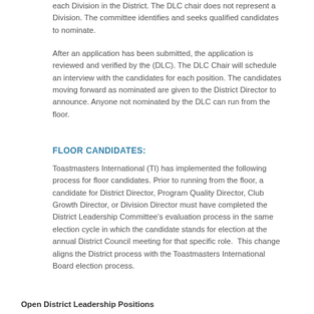each Division in the District. The DLC chair does not represent a Division. The committee identifies and seeks qualified candidates to nominate.
After an application has been submitted, the application is reviewed and verified by the (DLC). The DLC Chair will schedule an interview with the candidates for each position. The candidates moving forward as nominated are given to the District Director to announce. Anyone not nominated by the DLC can run from the floor.
FLOOR CANDIDATES:
Toastmasters International (TI) has implemented the following process for floor candidates. Prior to running from the floor, a candidate for District Director, Program Quality Director, Club Growth Director, or Division Director must have completed the District Leadership Committee's evaluation process in the same election cycle in which the candidate stands for election at the annual District Council meeting for that specific role.  This change aligns the District process with the Toastmasters International Board election process.
Open District Leadership Positions